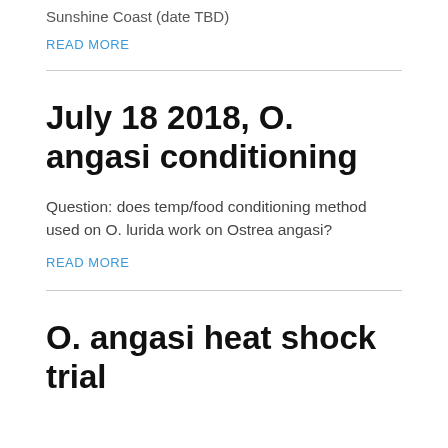Sunshine Coast (date TBD)
READ MORE
July 18 2018, O. angasi conditioning
Question: does temp/food conditioning method used on O. lurida work on Ostrea angasi?
READ MORE
O. angasi heat shock trial